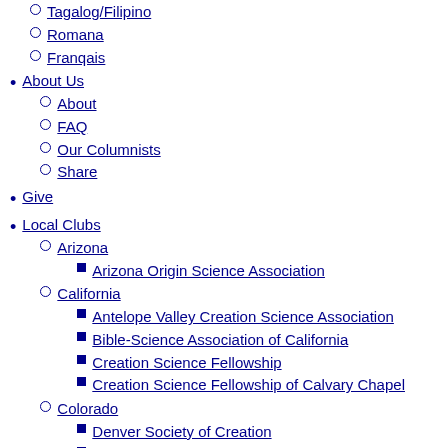Tagalog/Filipino
Romana
Franqais
About Us
About
FAQ
Our Columnists
Share
Give
Local Clubs
Arizona
Arizona Origin Science Association
California
Antelope Valley Creation Science Association
Bible-Science Association of California
Creation Science Fellowship
Creation Science Fellowship of Calvary Chapel
Colorado
Denver Society of Creation
Discover Creation Club by Alpha Omega Institute
Northeast Colorado Creation Group
Pikes Peak Creation Fellowship
Rocky Mountain Creation Fellowship
Florida